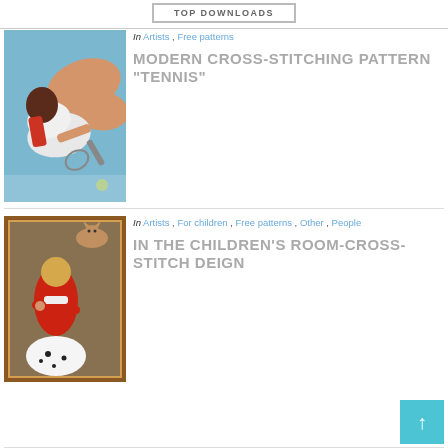TOP DOWNLOADS
[Figure (photo): Painting of a woman in white lying on the ground playing tennis, viewed from above, light blue background]
In Artists , Free patterns
MODERN CROSS-STITCHING PATTERN “TENNIS”
[Figure (photo): Painting of a young girl in a red dress sitting with a Dalmatian dog, with a cat visible in the background, framed painting style]
In Artists , For children , Free patterns , Other , People
IN THE CHILDREN’S ROOM-CROSS-STITCH DEIGN